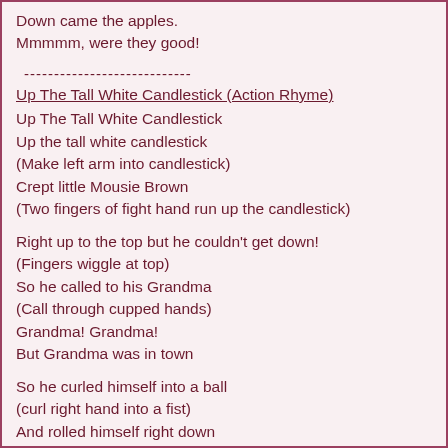Down came the apples.
Mmmmm, were they good!
----------------------------
Up The Tall White Candlestick (Action Rhyme)
Up The Tall White Candlestick
Up the tall white candlestick
(Make left arm into candlestick)
Crept little Mousie Brown
(Two fingers of fight hand run up the candlestick)
Right up to the top but he couldn't get down!
(Fingers wiggle at top)
So he called to his Grandma
(Call through cupped hands)
Grandma! Grandma!
But Grandma was in town
So he curled himself into a ball
(curl right hand into a fist)
And rolled himself right down
(Clench both fists and roly-poly them round each other)
------------------------------------